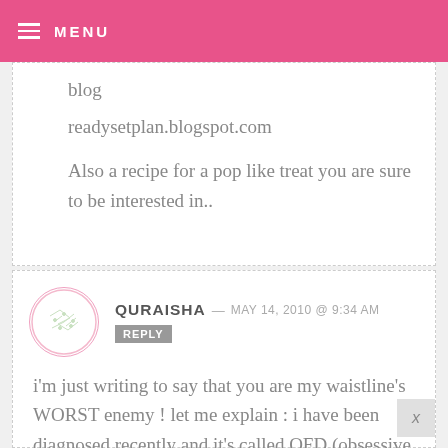MENU
blog
readysetplan.blogspot.com
Also a recipe for a pop like treat you are sure to be interested in..
QURAISHA — MAY 14, 2010 @ 9:34 AM REPLY
i'm just writing to say that you are my waistline's WORST enemy ! let me explain : i have been diagnosed recently and it's called OFD (obsessive